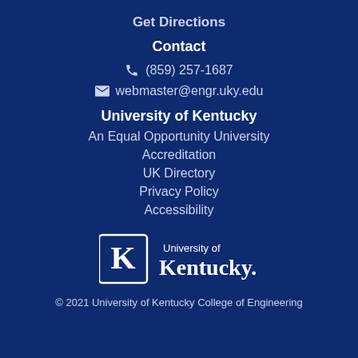Get Directions
Contact
(859) 257-1687
webmaster@engr.uky.edu
University of Kentucky
An Equal Opportunity University
Accreditation
UK Directory
Privacy Policy
Accessibility
[Figure (logo): University of Kentucky logo with UK emblem and text 'University of Kentucky']
© 2021 University of Kentucky College of Engineering